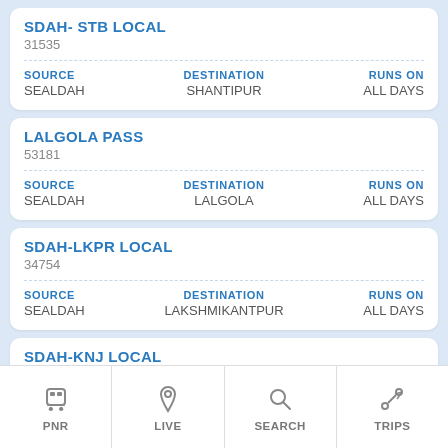SDAH- STB LOCAL
31535
SOURCE: SEALDAH | DESTINATION: SHANTIPUR | RUNS ON: ALL DAYS
LALGOLA PASS
53181
SOURCE: SEALDAH | DESTINATION: LALGOLA | RUNS ON: ALL DAYS
SDAH-LKPR LOCAL
34754
SOURCE: SEALDAH | DESTINATION: LAKSHMIKANTPUR | RUNS ON: ALL DAYS
SDAH-KNJ LOCAL
31811
[Figure (screenshot): Bottom navigation bar with four icons: PNR (train icon), LIVE (location pin icon), SEARCH (magnifying glass icon), TRIPS (route/travel icon)]